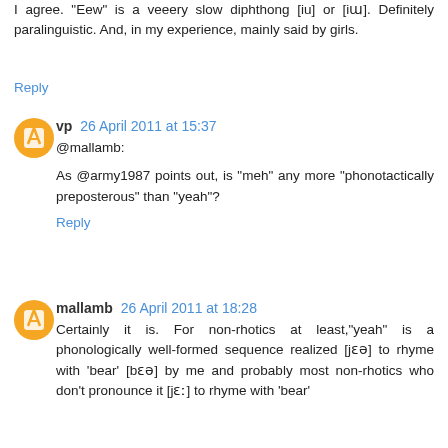I agree. "Eew" is a veeery slow diphthong [iu] or [iɯ]. Definitely paralinguistic. And, in my experience, mainly said by girls.
Reply
vp 26 April 2011 at 15:37
@mallamb:
As @army1987 points out, is "meh" any more "phonotactically preposterous" than "yeah"?
Reply
mallamb 26 April 2011 at 18:28
Certainly it is. For non-rhotics at least,"yeah" is a phonologically well-formed sequence realized [jɛə] to rhyme with 'bear' [bɛə] by me and probably most non-rhotics who don't pronounce it [jɛː] to rhyme with 'bear'